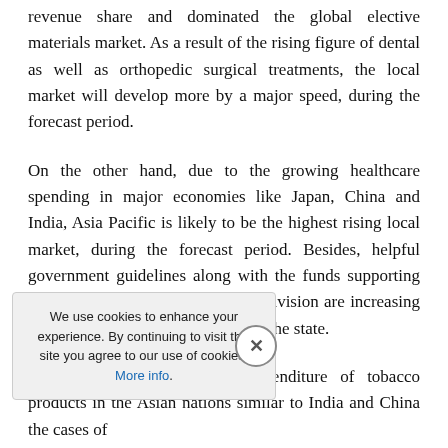revenue share and dominated the global elective materials market. As a result of the rising figure of dental as well as orthopedic surgical treatments, the local market will develop more by a major speed, during the forecast period.
On the other hand, due to the growing healthcare spending in major economies like Japan, China and India, Asia Pacific is likely to be the highest rising local market, during the forecast period. Besides, helpful government guidelines along with the funds supporting the enlargement of the healthcare division are increasing the expansion of the market within the state.
On account of the greater expenditure of tobacco products in the Asian nations similar to India and China the cases of ... are increasing within the state. ...t the demand for the product in ...se.
...pected to observe hopeful ...asted period because of the ...egarding the comfort and fitness.